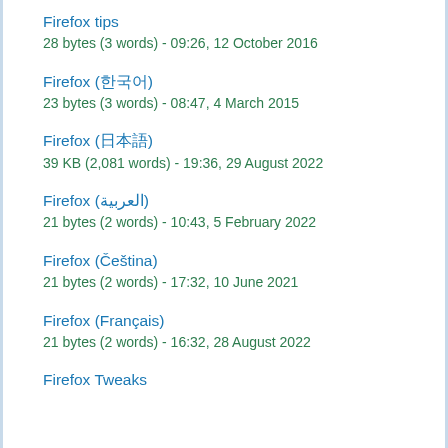Firefox tips
28 bytes (3 words) - 09:26, 12 October 2016
Firefox (한국어)
23 bytes (3 words) - 08:47, 4 March 2015
Firefox (日本語)
39 KB (2,081 words) - 19:36, 29 August 2022
Firefox (العربية)
21 bytes (2 words) - 10:43, 5 February 2022
Firefox (Čeština)
21 bytes (2 words) - 17:32, 10 June 2021
Firefox (Français)
21 bytes (2 words) - 16:32, 28 August 2022
Firefox Tweaks